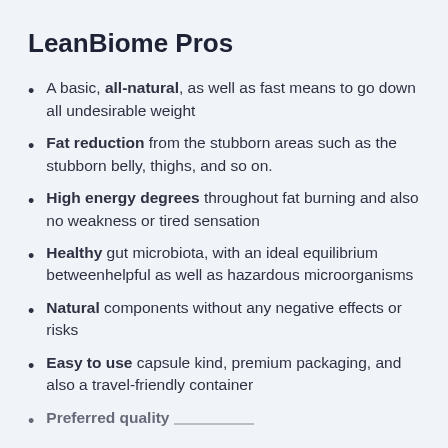LeanBiome Pros
A basic, all-natural, as well as fast means to go down all undesirable weight
Fat reduction from the stubborn areas such as the stubborn belly, thighs, and so on.
High energy degrees throughout fat burning and also no weakness or tired sensation
Healthy gut microbiota, with an ideal equilibrium betweenhelpful as well as hazardous microorganisms
Natural components without any negative effects or risks
Easy to use capsule kind, premium packaging, and also a travel-friendly container
Preferred quality…